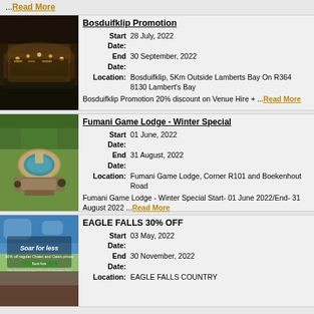...Read More
Bosduifklip Promotion
[Figure (photo): Night photo of Bosduifklip venue with lights illuminating rocky cliff face]
Start Date: 28 July, 2022
End Date: 30 September, 2022
Location: Bosduifklip, 5Km Outside Lamberts Bay On R364 8130 Lambert's Bay
Bosduifklip Promotion 20% discount on Venue Hire + ...Read More
Fumani Game Lodge - Winter Special
[Figure (photo): Aerial photo of Fumani Game Lodge showing pool and grounds]
Start Date: 01 June, 2022
End Date: 31 August, 2022
Location: Fumani Game Lodge, Corner R101 and Boekenhout Road
Fumani Game Lodge - Winter Special Start- 01 June 2022/End- 31 August 2022 ...Read More
EAGLE FALLS 30% OFF
[Figure (photo): Eagle Falls promotional image with 'Soar for less' text, 30% off regular Chalet and Cabin prices]
Start Date: 03 May, 2022
End Date: 30 November, 2022
Location: EAGLE FALLS COUNTRY